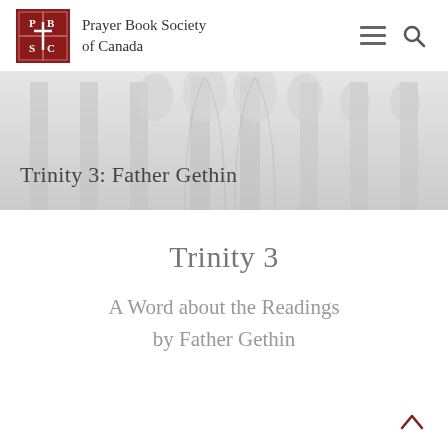Prayer Book Society of Canada
[Figure (photo): Cathedral interior with Gothic arched windows and columns in light grey tones, used as banner background]
Trinity 3: Father Gethin
Trinity 3
A Word about the Readings by Father Gethin